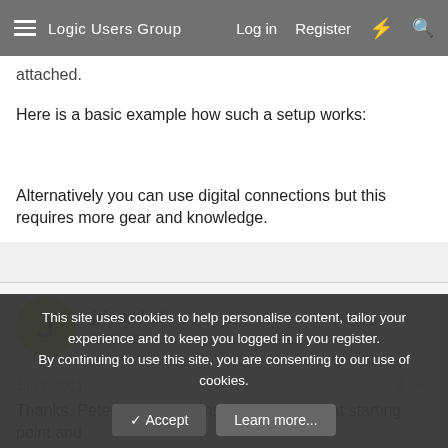Logic Users Group  Log in  Register
attached.
Here is a basic example how such a setup works:
Alternatively you can use digital connections but this requires more gear and knowledge.
jricordati
Logician
Jan 9, 2011  #4
Thanks, Peter...your response give me a great starting point and
This site uses cookies to help personalise content, tailor your experience and to keep you logged in if you register.
By continuing to use this site, you are consenting to our use of cookies.